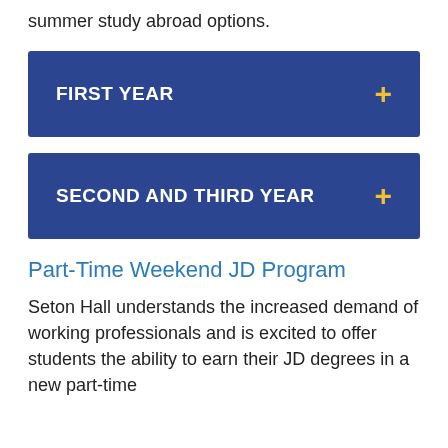summer study abroad options.
FIRST YEAR
SECOND AND THIRD YEAR
Part-Time Weekend JD Program
Seton Hall understands the increased demand of working professionals and is excited to offer students the ability to earn their JD degrees in a new part-time